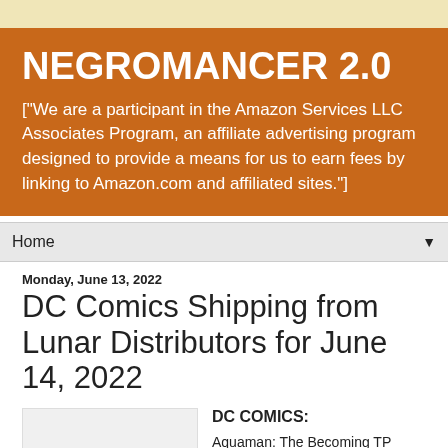NEGROMANCER 2.0
["We are a participant in the Amazon Services LLC Associates Program, an affiliate advertising program designed to provide a means for us to earn fees by linking to Amazon.com and affiliated sites."]
Home
Monday, June 13, 2022
DC Comics Shipping from Lunar Distributors for June 14, 2022
[Figure (other): Placeholder image box]
DC COMICS:
Aquaman: The Becoming TP $19.99